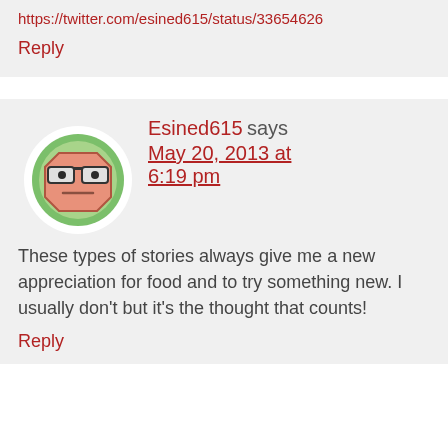https://twitter.com/esined615/status/33654626
Reply
[Figure (illustration): Cartoon avatar of a robot-like face with glasses on a green circular background]
Esined615 says May 20, 2013 at 6:19 pm
These types of stories always give me a new appreciation for food and to try something new. I usually don't but it's the thought that counts!
Reply